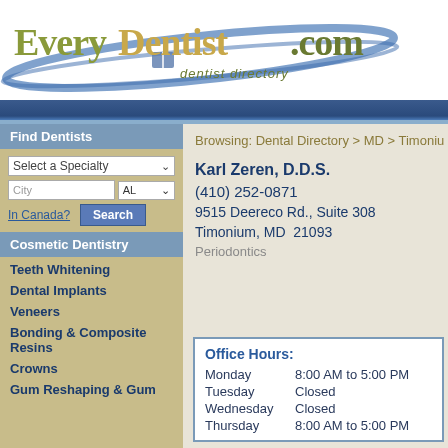[Figure (logo): EveryDentist.com dentist directory logo with blue swoosh]
Browsing: Dental Directory > MD > Timonium
Karl Zeren, D.D.S.
(410) 252-0871
9515 Deereco Rd., Suite 308
Timonium, MD  21093
Periodontics
Find Dentists
Select a Specialty
Cosmetic Dentistry
Teeth Whitening
Dental Implants
Veneers
Bonding & Composite Resins
Crowns
Gum Reshaping & Gum
| Day | Hours |
| --- | --- |
| Monday | 8:00 AM to 5:00 PM |
| Tuesday | Closed |
| Wednesday | Closed |
| Thursday | 8:00 AM to 5:00 PM |